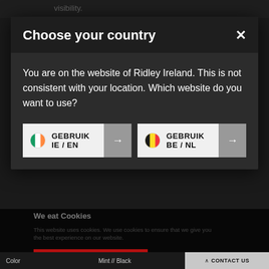visibility.
Choose your country
You are on the website of Ridley Ireland. This is not consistent with your location. Which website do you want to use?
GEBRUIK IE / EN →
GEBRUIK BE / NL →
We eat Cookies
This website uses cookies. We use cookies to ensure that we give you the best experience on our website.
ACCEPT ALL COOKIES
Cookie preferences
Color                    Mint // Black
^ CONTACT US